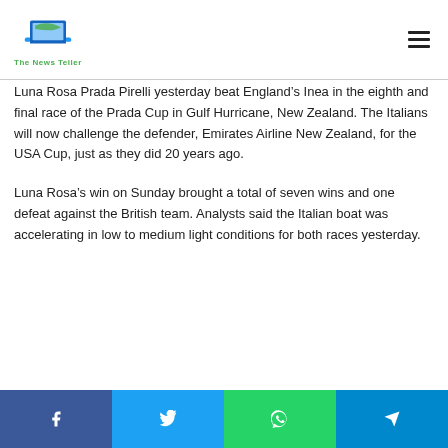The News Teller
Luna Rosa Prada Pirelli yesterday beat England’s Inea in the eighth and final race of the Prada Cup in Gulf Hurricane, New Zealand. The Italians will now challenge the defender, Emirates Airline New Zealand, for the USA Cup, just as they did 20 years ago.
Luna Rosa’s win on Sunday brought a total of seven wins and one defeat against the British team. Analysts said the Italian boat was accelerating in low to medium light conditions for both races yesterday.